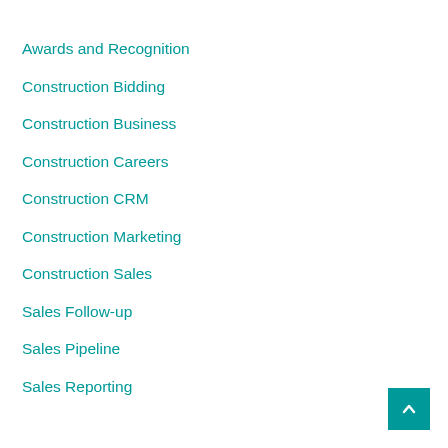Awards and Recognition
Construction Bidding
Construction Business
Construction Careers
Construction CRM
Construction Marketing
Construction Sales
Sales Follow-up
Sales Pipeline
Sales Reporting